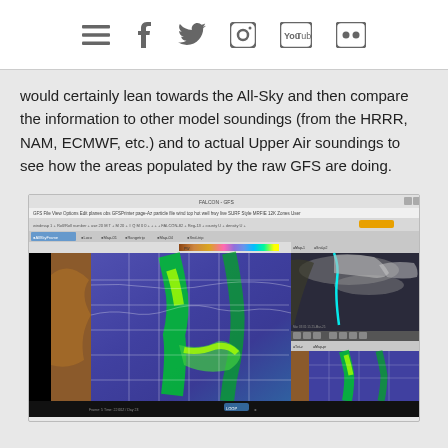Navigation bar with menu, facebook, twitter, instagram, youtube, flickr icons
would certainly lean towards the All-Sky and then compare the information to other model soundings (from the HRRR, NAM, ECMWF, etc.) and to actual Upper Air soundings to see how the areas populated by the raw GFS are doing.
[Figure (screenshot): Screenshot of weather forecasting software showing multiple panels: a large main weather map on the left displaying precipitable water/GFS model data with color gradient from purple/blue to green/yellow, a smaller upper-right panel showing satellite imagery, and a lower-right panel showing another weather map similar to the main view.]